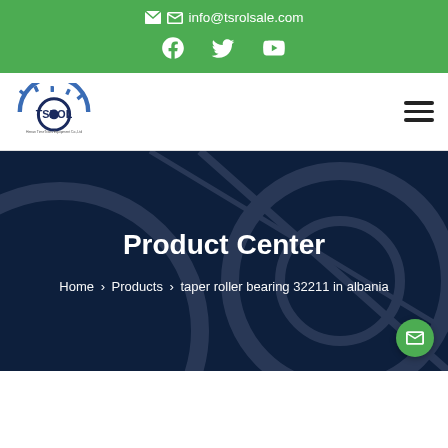✉ info@tsrolsale.com
[Figure (logo): Social media icons: Facebook, Twitter, YouTube in white on green background]
[Figure (logo): TSROL company logo with gear graphic and text 'Henan TimeTrans Equipment Co.,Ltd']
Product Center
Home > Products > taper roller bearing 32211 in albania